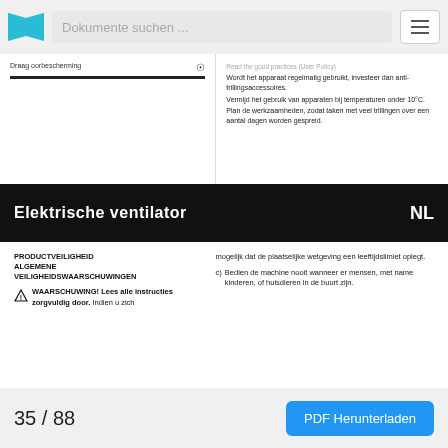Dokumente suchen ...
Draag oorbescherming
Wordt het apparaat regelmatig gebruikt, investeer dan anti-trillingsaccessoires. Vermijd het gebruik van apparaten bij temperaturen onder 10°C. Plan de werkzaamheden, zodat taken met veel trillingen over een aantal dagen worden gespreid.
Elektrische ventilator  NL
PRODUCTVEILIGHEID ALGEMENE VEILIGHEIDSWAARSCHUWINGEN
WAARSCHUWING! Lees alle instructies zorgvuldig door. Indien u zich
mogelijk dat de plaatselijke wetgeving een leeftijdslimiet oplegt.
c) Bedien de machine nooit wanneer er mensen, met name kinderen, of huisdieren in de buurt zijn.
35 / 88